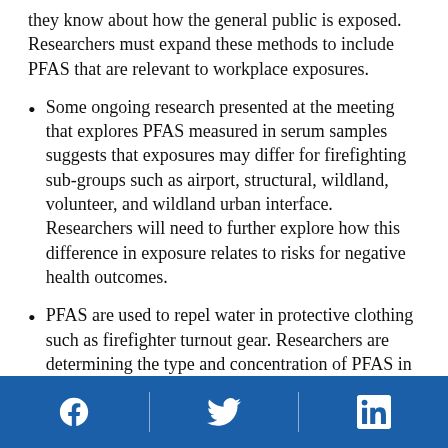they know about how the general public is exposed. Researchers must expand these methods to include PFAS that are relevant to workplace exposures.
Some ongoing research presented at the meeting that explores PFAS measured in serum samples suggests that exposures may differ for firefighting sub-groups such as airport, structural, wildland, volunteer, and wildland urban interface. Researchers will need to further explore how this difference in exposure relates to risks for negative health outcomes.
PFAS are used to repel water in protective clothing such as firefighter turnout gear. Researchers are determining the type and concentration of PFAS in new and used gear and
Facebook | Twitter | LinkedIn